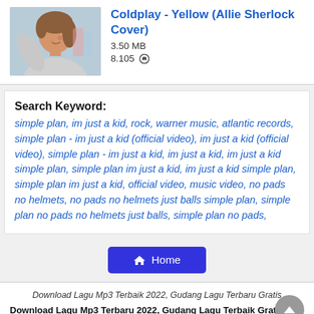[Figure (photo): Thumbnail of a young woman with brown hair, smiling, side profile, outdoor/casual setting]
Coldplay - Yellow (Allie Sherlock Cover)
3.50 MB
8.105 🎧
Search Keyword:
simple plan, im just a kid, rock, warner music, atlantic records, simple plan - im just a kid (official video), im just a kid (official video), simple plan - im just a kid, im just a kid, im just a kid simple plan, simple plan im just a kid, im just a kid simple plan, simple plan im just a kid, official video, music video, no pads no helmets, no pads no helmets just balls simple plan, simple plan no pads no helmets just balls, simple plan no pads,
🏠 Home
Download Lagu Mp3 Terbaik 2022, Gudang Lagu Terbaru Gratis
Download Lagu Mp3 Terbaru 2022, Gudang Lagu Terbaik Gratis. Situs Download Lagu Gratis, Gudang lagu Mp3 Indonesia,